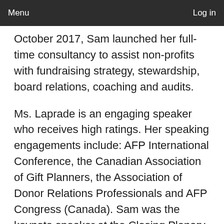Menu   Log in
October 2017, Sam launched her full-time consultancy to assist non-profits with fundraising strategy, stewardship, board relations, coaching and audits.
Ms. Laprade is an engaging speaker who receives high ratings. Her speaking engagements include: AFP International Conference, the Canadian Association of Gift Planners, the Association of Donor Relations Professionals and AFP Congress (Canada). Sam was the keynote speaker at the Closing Plenary for
AFP Congress 2018. In 2021, Sam will be the keynote speaker at the National Conference for the Fundraising Institute of New Zealand.